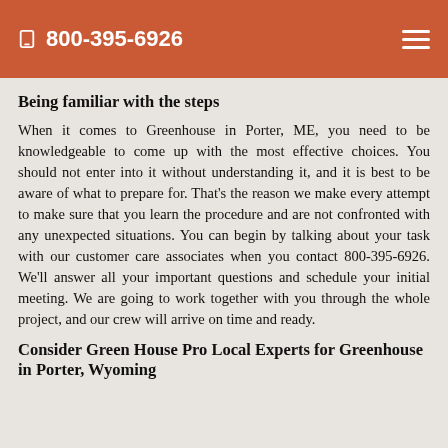800-395-6926
Being familiar with the steps
When it comes to Greenhouse in Porter, ME, you need to be knowledgeable to come up with the most effective choices. You should not enter into it without understanding it, and it is best to be aware of what to prepare for. That's the reason we make every attempt to make sure that you learn the procedure and are not confronted with any unexpected situations. You can begin by talking about your task with our customer care associates when you contact 800-395-6926. We'll answer all your important questions and schedule your initial meeting. We are going to work together with you through the whole project, and our crew will arrive on time and ready.
Consider Green House Pro Local Experts for Greenhouse in Porter, Wyoming